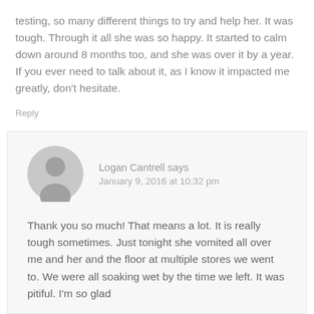testing, so many different things to try and help her. It was tough. Through it all she was so happy. It started to calm down around 8 months too, and she was over it by a year. If you ever need to talk about it, as I know it impacted me greatly, don't hesitate.
Reply
Logan Cantrell says
January 9, 2016 at 10:32 pm
Thank you so much! That means a lot. It is really tough sometimes. Just tonight she vomited all over me and her and the floor at multiple stores we went to. We were all soaking wet by the time we left. It was pitiful. I'm so glad